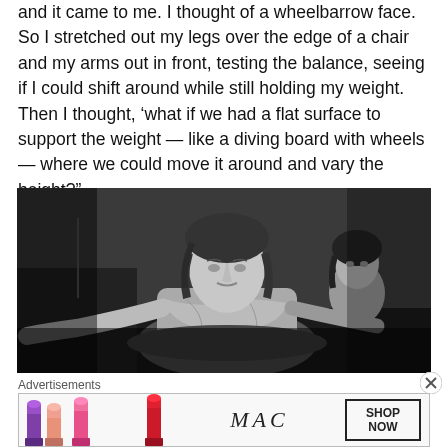and it came to me. I thought of a wheelbarrow face. So I stretched out my legs over the edge of a chair and my arms out in front, testing the balance, seeing if I could shift around while still holding my weight. Then I thought, ‘what if we had a flat surface to support the weight — like a diving board with wheels — where we could move it around and vary the height?”
[Figure (photo): Black and white photograph of a person with medium-length hair leaning forward over what appears to be a surface, with another person visible in the background to the right.]
Advertisements
[Figure (other): MAC Cosmetics advertisement showing lipsticks on the left and a SHOP NOW button on the right.]